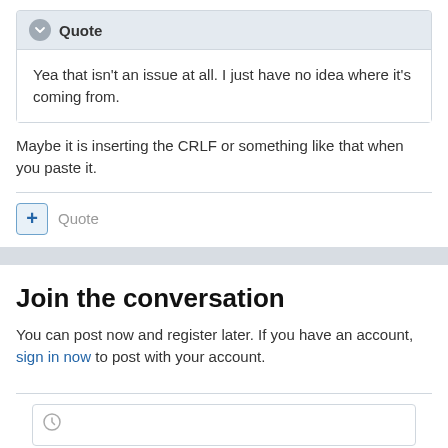Quote
Yea that isn't an issue at all. I just have no idea where it's coming from.
Maybe it is inserting the CRLF or something like that when you paste it.
Quote
Join the conversation
You can post now and register later. If you have an account, sign in now to post with your account.